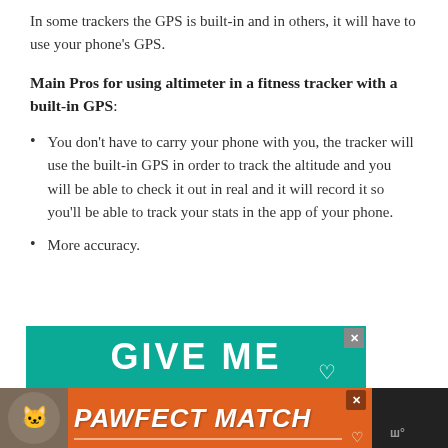In some trackers the GPS is built-in and in others, it will have to use your phone's GPS.
Main Pros for using altimeter in a fitness tracker with a built-in GPS:
You don’t have to carry your phone with you, the tracker will use the built-in GPS in order to track the altitude and you will be able to check it out in real and it will record it so you’ll be able to track your stats in the app of your phone.
More accuracy.
[Figure (infographic): Teal advertisement banner partially visible at bottom, with orange PAWFECT MATCH ad banner overlaid at very bottom with cat image.]